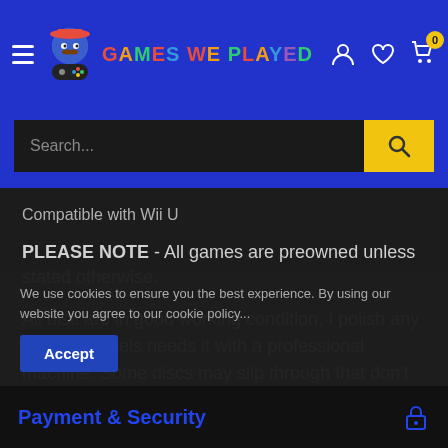[Figure (screenshot): Games We Played website header with logo, hamburger menu, user/heart/cart icons on blue background]
[Figure (screenshot): Search bar with dark input field and yellow search button]
Compatible with Wii U
PLEASE NOTE - All games are preowned unless stated otherwise.
All disc are in good working condition, I polish any disc that I feels needs it with a professional machine. Some discs may slip through that don't work, but I offer replacement, exchange or
We use cookies to ensure you the best experience. By using our website you agree to our cookie policy...
Accept
Payment & Security